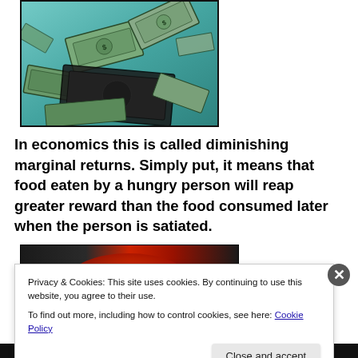[Figure (photo): Photo of US dollar bills floating/submerged in teal-blue water, viewed from above]
In economics this is called diminishing marginal returns. Simply put, it means that food eaten by a hungry person will reap greater reward than the food consumed later when the person is satiated.
[Figure (photo): Partial photo with dark and red tones, partially obscured by cookie banner]
Privacy & Cookies: This site uses cookies. By continuing to use this website, you agree to their use.
To find out more, including how to control cookies, see here: Cookie Policy
Close and accept